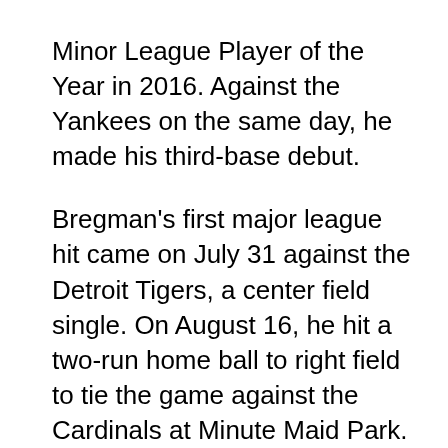Minor League Player of the Year in 2016. Against the Yankees on the same day, he made his third-base debut.

Bregman's first major league hit came on July 31 against the Detroit Tigers, a center field single. On August 16, he hit a two-run home ball to right field to tie the game against the Cardinals at Minute Maid Park. He had a batting average of.264 with eight home runs and 34 RBIs in 49 games. Bregman was the youngest member of Team USA's inaugural World Baseball Classic gold medal, which they won 8–0 against Puerto Rico in the championship game. He was invited to play for Israel's World Baseball Classic team, which finished sixth in 2017. Because I only had four at bats for Team